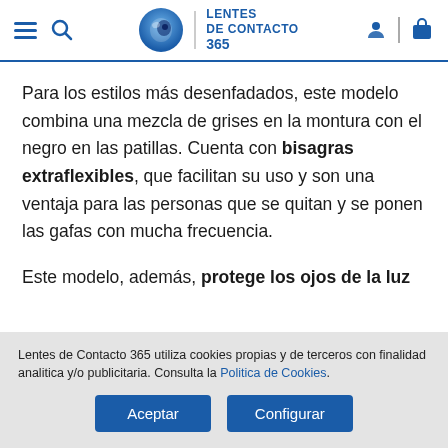Lentes de Contacto 365 — navigation header
Para los estilos más desenfadados, este modelo combina una mezcla de grises en la montura con el negro en las patillas. Cuenta con bisagras extraflexibles, que facilitan su uso y son una ventaja para las personas que se quitan y se ponen las gafas con mucha frecuencia.
Este modelo, además, protege los ojos de la luz
Lentes de Contacto 365 utiliza cookies propias y de terceros con finalidad analitica y/o publicitaria. Consulta la Politica de Cookies.